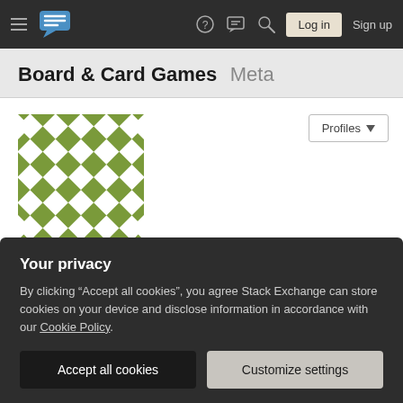Board & Card Games Meta — Stack Exchange navigation bar with Log in and Sign up buttons
Board & Card Games Meta
[Figure (illustration): Green and white checkerboard diamond pattern avatar for user Tom Au]
Tom Au
Member for 11 years, 3 months   Last seen more than a month ago
New York, New York
Your privacy
By clicking "Accept all cookies", you agree Stack Exchange can store cookies on your device and disclose information in accordance with our Cookie Policy.
Accept all cookies   Customize settings